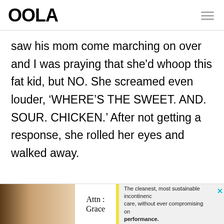OOLA
saw his mom come marching on over and I was praying that she'd whoop this fat kid, but NO. She screamed even louder, ‘WHERE’S THE SWEET. AND. SOUR. CHICKEN.’ After not getting a response, she rolled her eyes and walked away.
[Figure (other): Advertisement banner for Attn: Grace incontinence products showing product image and text: 'The cleanest, most sustainable incontinence care, without ever compromising on performance.']